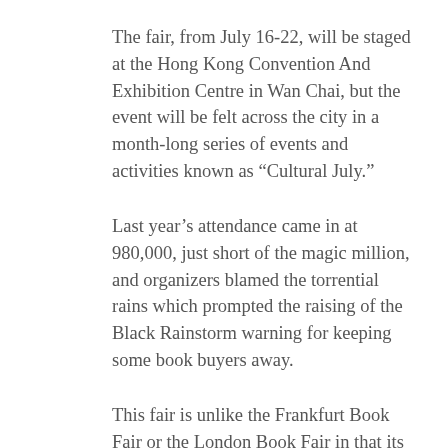The fair, from July 16-22, will be staged at the Hong Kong Convention And Exhibition Centre in Wan Chai, but the event will be felt across the city in a month-long series of events and activities known as “Cultural July.”
Last year’s attendance came in at 980,000, just short of the magic million, and organizers blamed the torrential rains which prompted the raising of the Black Rainstorm warning for keeping some book buyers away.
This fair is unlike the Frankfurt Book Fair or the London Book Fair in that its primary focus is not trade, but consumers. The first fair was held in 1990 when the Hong Kong Convention and Exhibition Centre was just two years old. It is one of three consumer shows — along with an annual Food Expo and Education and Career Expo that the Hong Kong Trade